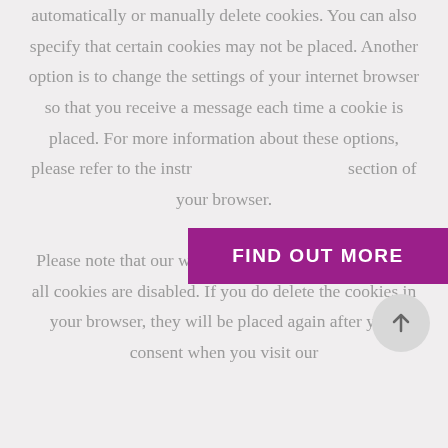You can use your internet browser to automatically or manually delete cookies. You can also specify that certain cookies may not be placed. Another option is to change the settings of your internet browser so that you receive a message each time a cookie is placed. For more information about these options, please refer to the instructions in the help section of your browser. Please note that our website may not work properly if all cookies are disabled. If you do delete the cookies in your browser, they will be placed again after your consent when you visit our